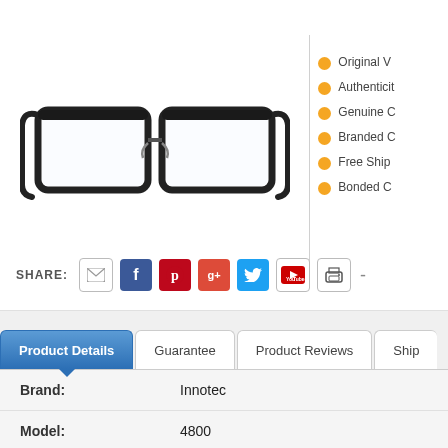[Figure (photo): Black rectangular eyeglasses frames (Innotec 4800 134 Black) on white background]
Original V...
Authenticit...
Genuine C...
Branded C...
Free Ship...
Bonded C...
SHARE:
Product Details | Guarantee | Product Reviews | Ship
| Field | Value |
| --- | --- |
| Brand: | Innotec |
| Model: | 4800 |
| Frame Color: | 4800 134 Black |